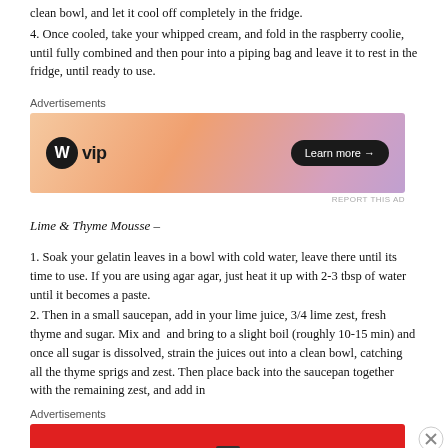clean bowl, and let it cool off completely in the fridge.
4. Once cooled, take your whipped cream, and fold in the raspberry coolie, until fully combined and then pour into a piping bag and leave it to rest in the fridge, until ready to use.
[Figure (other): WordPress VIP advertisement banner with 'Learn more' button]
Lime & Thyme Mousse –
1. Soak your gelatin leaves in a bowl with cold water, leave there until its time to use. If you are using agar agar, just heat it up with 2-3 tbsp of water until it becomes a paste.
2. Then in a small saucepan, add in your lime juice, 3/4 lime zest, fresh thyme and sugar. Mix and  and bring to a slight boil (roughly 10-15 min) and once all sugar is dissolved, strain the juices out into a clean bowl, catching all the thyme sprigs and zest. Then place back into the saucepan together with the remaining zest, and add in
[Figure (other): Pocket Casts podcast app advertisement banner — 'An app by listeners, for listeners.']